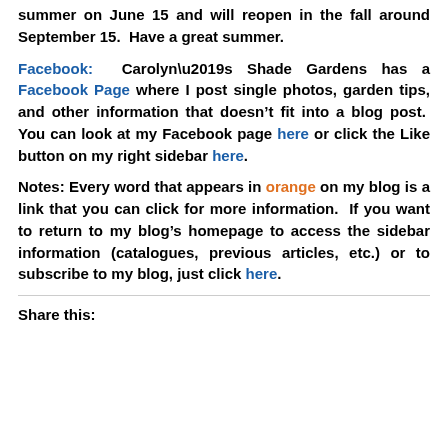summer on June 15 and will reopen in the fall around September 15.  Have a great summer.
Facebook:  Carolyn’s Shade Gardens has a Facebook Page where I post single photos, garden tips, and other information that doesn’t fit into a blog post.  You can look at my Facebook page here or click the Like button on my right sidebar here.
Notes: Every word that appears in orange on my blog is a link that you can click for more information.  If you want to return to my blog’s homepage to access the sidebar information (catalogues, previous articles, etc.) or to subscribe to my blog, just click here.
Share this: